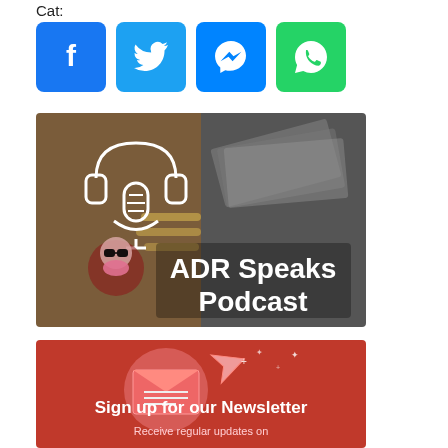Cat:
[Figure (illustration): Four social media share buttons: Facebook (blue), Twitter (blue), Messenger (blue), WhatsApp (green)]
[Figure (illustration): ADR Speaks Podcast banner image with headphones/microphone icon, cartoon characters, and currency imagery. White bold text reads 'ADR Speaks Podcast']
[Figure (illustration): Red newsletter signup banner with envelope/mail illustration, paper plane, sparkles. White bold text: 'Sign up for our Newsletter'. Subtitle text below: 'Receive regular updates on']